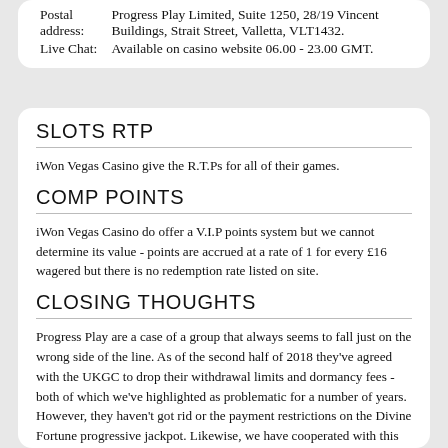| Postal address: | Progress Play Limited, Suite 1250, 28/19 Vincent Buildings, Strait Street, Valletta, VLT1432. |
| Live Chat: | Available on casino website 06.00 - 23.00 GMT. |
SLOTS RTP
iWon Vegas Casino give the R.T.Ps for all of their games.
COMP POINTS
iWon Vegas Casino do offer a V.I.P points system but we cannot determine its value - points are accrued at a rate of 1 for every £16 wagered but there is no redemption rate listed on site.
CLOSING THOUGHTS
Progress Play are a case of a group that always seems to fall just on the wrong side of the line. As of the second half of 2018 they've agreed with the UKGC to drop their withdrawal limits and dormancy fees - both of which we've highlighted as problematic for a number of years. However, they haven't got rid or the payment restrictions on the Divine Fortune progressive jackpot. Likewise, we have cooperated with this group in the